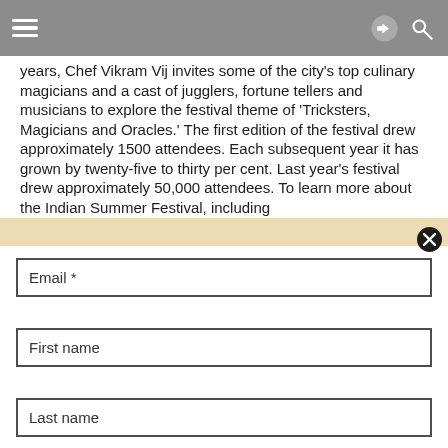[Navigation bar with hamburger menu, share icon, and search icon]
years, Chef Vikram Vij invites some of the city's top culinary magicians and a cast of jugglers, fortune tellers and musicians to explore the festival theme of 'Tricksters, Magicians and Oracles.' The first edition of the festival drew approximately 1500 attendees. Each subsequent year it has grown by twenty-five to thirty per cent. Last year's festival drew approximately 50,000 attendees. To learn more about the Indian Summer Festival, including
Email *
First name
Last name